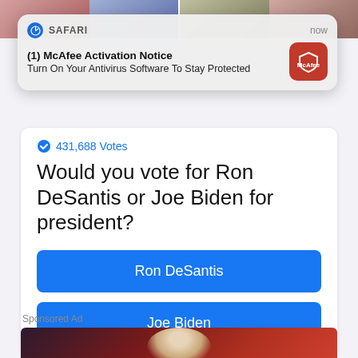[Figure (screenshot): Top photo strip showing partial faces of political figures]
[Figure (screenshot): iOS Safari push notification: '(1) McAfee Activation Notice - Turn On Your Antivirus Software To Stay Protected' with McAfee red icon]
431,688 Votes
Would you vote for Ron DeSantis or Joe Biden for president?
Ron DeSantis
Joe Biden
Sponsored Ad
[Figure (photo): Bottom portion showing a man with white/gray hair against a red/dark background, partially cut off]